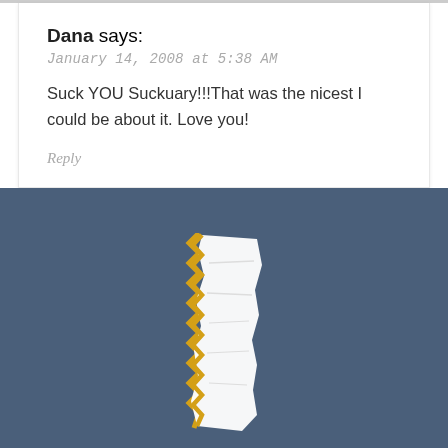Dana says:
January 14, 2008 at 5:38 AM
Suck YOU Suckuary!!!That was the nicest I could be about it. Love you!
Reply
[Figure (illustration): Torn paper / receipt icon in white with yellow zigzag edges, centered on dark blue-gray background]
Leave a Reply